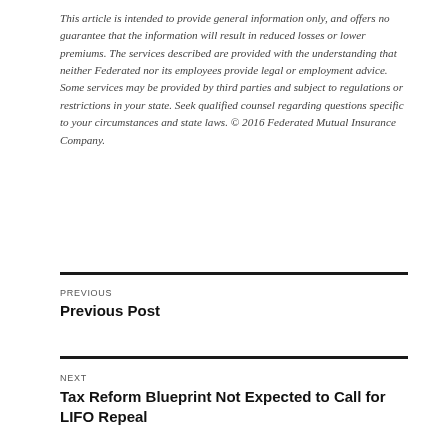This article is intended to provide general information only, and offers no guarantee that the information will result in reduced losses or lower premiums. The services described are provided with the understanding that neither Federated nor its employees provide legal or employment advice. Some services may be provided by third parties and subject to regulations or restrictions in your state. Seek qualified counsel regarding questions specific to your circumstances and state laws. © 2016 Federated Mutual Insurance Company.
PREVIOUS
Previous Post
NEXT
Tax Reform Blueprint Not Expected to Call for LIFO Repeal